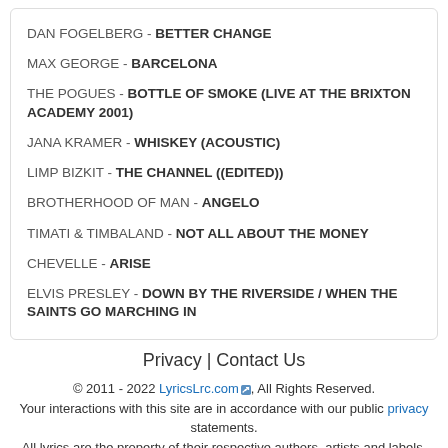DAN FOGELBERG -  BETTER CHANGE
MAX GEORGE -  BARCELONA
THE POGUES -  BOTTLE OF SMOKE (LIVE AT THE BRIXTON ACADEMY 2001)
JANA KRAMER -  WHISKEY (ACOUSTIC)
LIMP BIZKIT -  THE CHANNEL ((EDITED))
BROTHERHOOD OF MAN -  ANGELO
TIMATI & TIMBALAND -  NOT ALL ABOUT THE MONEY
CHEVELLE -  ARISE
ELVIS PRESLEY -  DOWN BY THE RIVERSIDE / WHEN THE SAINTS GO MARCHING IN
Privacy | Contact Us
© 2011 - 2022 LyricsLrc.com, All Rights Reserved.
Your interactions with this site are in accordance with our public privacy statements.
All lyrics are the property of their respective authors, artists and labels.